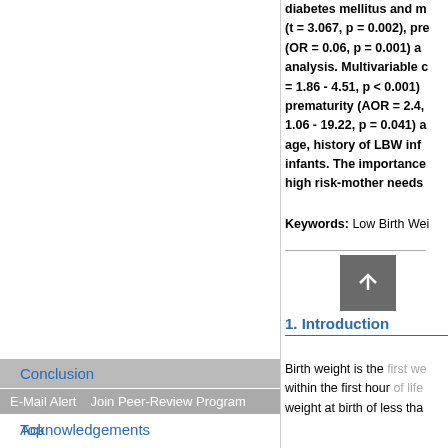diabetes mellitus and m (t = 3.067, p = 0.002), pre (OR = 0.06, p = 0.001) a analysis. Multivariable c = 1.86 - 4.51, p < 0.001) prematurity (AOR = 2.4, 1.06 - 19.22, p = 0.041) a age, history of LBW inf infants. The importance high risk-mother needs
Keywords: Low Birth Wei
1. Introduction
Birth weight is the first we within the first hour of life weight at birth of less tha
Top
ABSTRACT
Introduction
Material and Methods
Result
Discussion
Conclusion
Acknowledgements
E-Mail Alert   Join Peer-Review Program